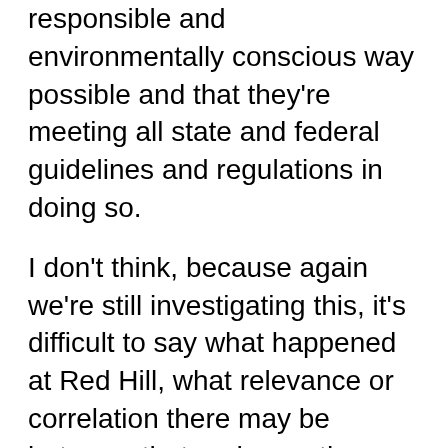responsible and environmentally conscious way possible and that they're meeting all state and federal guidelines and regulations in doing so.
I don't think, because again we're still investigating this, it's difficult to say what happened at Red Hill, what relevance or correlation there may be between that and any other fuel storage facility.  Important to remember, again, I'm not alluding to anything, I'm not trying to get ahead of the investigation, but it is a very old facility, built right after World War II.  And it's very unique in its purpose and the size and scope of the storage -- the fuel storage that it holds, 2.5 million gallons.  So it's a unique facility with a unique structure and architecture